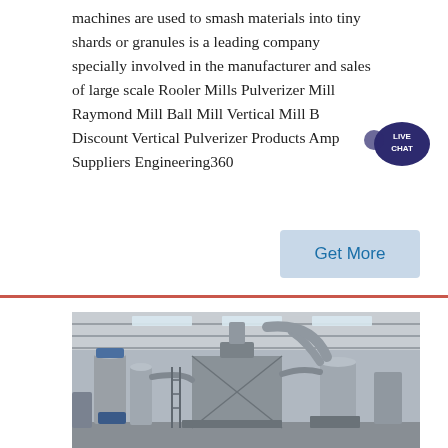machines are used to smash materials into tiny shards or granules is a leading company specially involved in the manufacturer and sales of large scale Rooler Mills Pulverizer Mill Raymond Mill Ball Mill Vertical Mill B Discount Vertical Pulverizer Products Amp Suppliers Engineering360
[Figure (other): Live Chat badge with speech bubble icon — dark purple/navy chat bubble with 'LIVE CHAT' text in white]
[Figure (other): Get More button — rectangular light blue/grey button with 'Get More' text in blue]
[Figure (photo): Industrial factory interior showing large grinding mill or pulverizer equipment — grey cylindrical vessels, blue hoppers, interconnected ducts and pipes, metal framework, industrial shed roof with skylights]